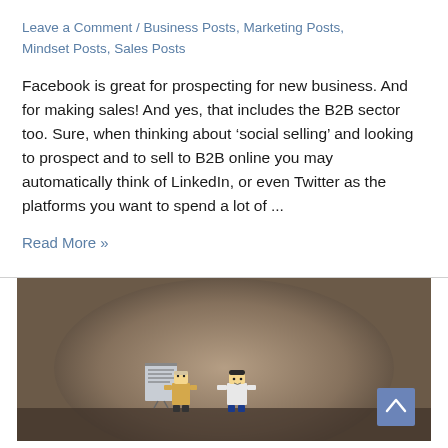Leave a Comment / Business Posts, Marketing Posts, Mindset Posts, Sales Posts
Facebook is great for prospecting for new business. And for making sales! And yes, that includes the B2B sector too. Sure, when thinking about ‘social selling’ and looking to prospect and to sell to B2B online you may automatically think of LinkedIn, or even Twitter as the platforms you want to spend a lot of ...
Read More »
[Figure (photo): Photo of two LEGO minifigures in what appears to be an office setting with a brown/tan background. One figure appears to be at a desk or presentation board.]